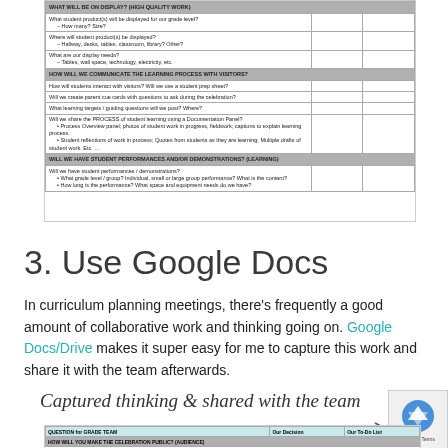[Figure (table-as-image): A planning table with sections: 'WHAT WILL BE ON DISPLAY? (HIGH QUALITY WORK)', 'HOW WILL WE COMMUNICATE THE LEARNING PROCESS WITH VISITORS?', and 'WILL WE HAVE STUDENT PERFORMANCES AND/OR DEMONSTRATIONS? (LEARNING)' with sub-questions in each section.]
3. Use Google Docs
In curriculum planning meetings, there's frequently a good amount of collaborative work and thinking going on. Google Docs/Drive makes it super easy for me to capture this work and share it with the team afterwards.
Captured thinking & shared with the team
[Figure (table-as-image): Bottom portion of a Google Docs table showing columns: QUESTION for GRADE TEAM, Our Decision, Our To-Do List. Rows include 'HOW WILL YOU MAKE THE CELEBRATION PUBLIC? (AUDIENCE)']